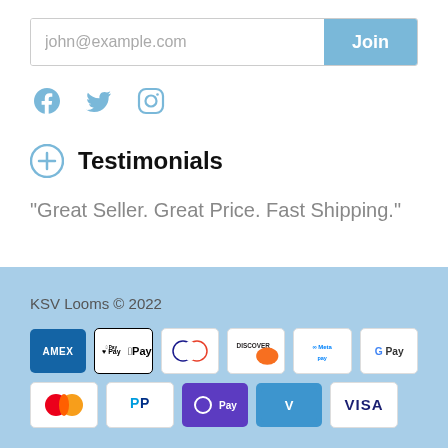[Figure (other): Email signup form with input field showing 'john@example.com' placeholder and a blue 'Join' button]
[Figure (other): Social media icons: Facebook, Twitter, Instagram in light blue]
Testimonials
"Great Seller. Great Price. Fast Shipping."
KSV Looms © 2022
[Figure (other): Payment method logos: American Express, Apple Pay, Diners Club, Discover, Meta Pay, Google Pay, Mastercard, PayPal, OPay, Venmo, Visa]